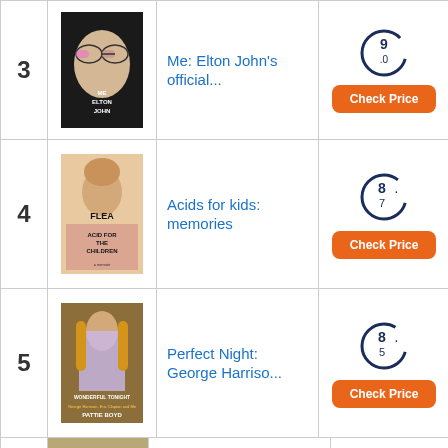| Rank | Cover | Title | Score / Action |
| --- | --- | --- | --- |
| 3 | Me: Elton John cover image | Me: Elton John's official... | 9.0 / Check Price |
| 4 | Acid for the Children cover image | Acids for kids: memories | 8.7 / Check Price |
| 5 | Wonderful Tonight cover image | Perfect Night: George Harriso... | 8.5 / Check Price |
| (partial row with another book) |  |  |  |